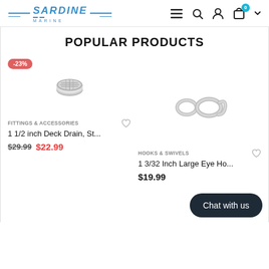Sardine Marine — header with logo, menu, search, account, cart (0)
POPULAR PRODUCTS
[Figure (photo): Silver metallic deck drain fitting, viewed from top, circular shape]
FITTINGS & ACCESSORIES
1 1/2 inch Deck Drain, St...
$29.99  $22.99  -23%
[Figure (photo): Silver metallic large eye hook / swivel, figure-8 shape]
HOOKS & SWIVELS
1 3/32 Inch Large Eye Ho...
$19.99